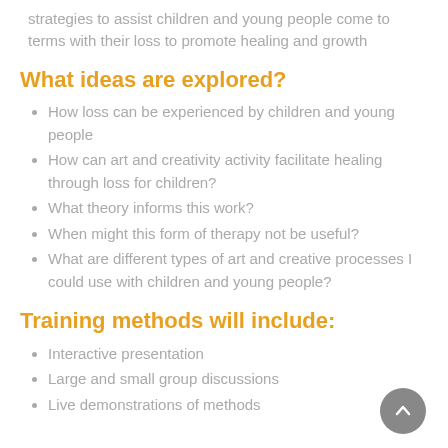strategies to assist children and young people come to terms with their loss to promote healing and growth
What ideas are explored?
How loss can be experienced by children and young people
How can art and creativity activity facilitate healing through loss for children?
What theory informs this work?
When might this form of therapy not be useful?
What are different types of art and creative processes I could use with children and young people?
Training methods will include:
Interactive presentation
Large and small group discussions
Live demonstrations of methods